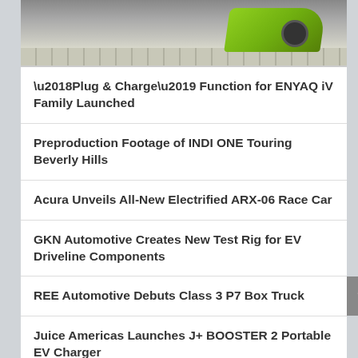[Figure (photo): Top portion of a green sports car on a checkered surface, partially cropped]
‘Plug & Charge’ Function for ENYAQ iV Family Launched
Preproduction Footage of INDI ONE Touring Beverly Hills
Acura Unveils All-New Electrified ARX-06 Race Car
GKN Automotive Creates New Test Rig for EV Driveline Components
REE Automotive Debuts Class 3 P7 Box Truck
Juice Americas Launches J+ BOOSTER 2 Portable EV Charger
Pulse Labs Interview: Keeping the Driver in Mind